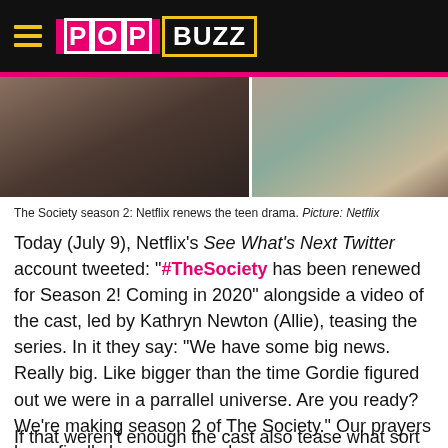PopBuzz
[Figure (photo): Two side-by-side stills from The Society TV show — left shows a female character from behind, right shows a male character looking down]
The Society season 2: Netflix renews the teen drama. Picture: Netflix
Today (July 9), Netflix's See What's Next Twitter account tweeted: "#TheSociety has been renewed for Season 2! Coming in 2020" alongside a video of the cast, led by Kathryn Newton (Allie), teasing the series. In it they say: "We have some big news. Really big. Like bigger than the time Gordie figured out we were in a parrallel universe. Are you ready? We're making season 2 of The Society." Our prayers have finally been answered.
If that weren't enough the cast also tease what sort of plot